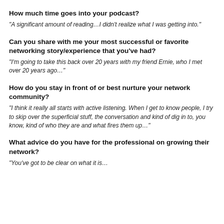How much time goes into your podcast?
“A significant amount of reading…I didn’t realize what I was getting into.”
Can you share with me your most successful or favorite networking story/experience that you’ve had?
“I’m going to take this back over 20 years with my friend Ernie, who I met over 20 years ago…”
How do you stay in front of or best nurture your network community?
“I think it really all starts with active listening. When I get to know people, I try to skip over the superficial stuff, the conversation and kind of dig in to, you know, kind of who they are and what fires them up…”
What advice do you have for the professional on growing their network?
“You’ve got to be clear on what it is…”